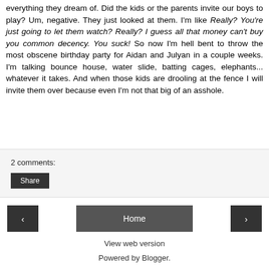everything they dream of. Did the kids or the parents invite our boys to play? Um, negative. They just looked at them. I'm like Really? You're just going to let them watch? Really? I guess all that money can't buy you common decency. You suck! So now I'm hell bent to throw the most obscene birthday party for Aidan and Julyan in a couple weeks. I'm talking bounce house, water slide, batting cages, elephants... whatever it takes. And when those kids are drooling at the fence I will invite them over because even I'm not that big of an asshole.
2 comments:
Share
‹
Home
›
View web version
Powered by Blogger.